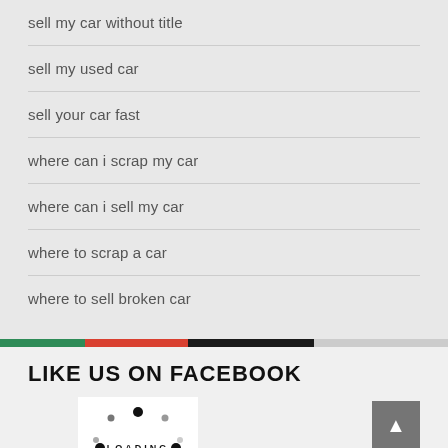sell my car without title
sell my used car
sell your car fast
where can i scrap my car
where can i sell my car
where to scrap a car
where to sell broken car
[Figure (infographic): Horizontal color bar divided into four segments: green, red, black, and light gray]
LIKE US ON FACEBOOK
[Figure (screenshot): A loading spinner animation showing dots arranged in a circle with the word LOADING in the center, on a white background]